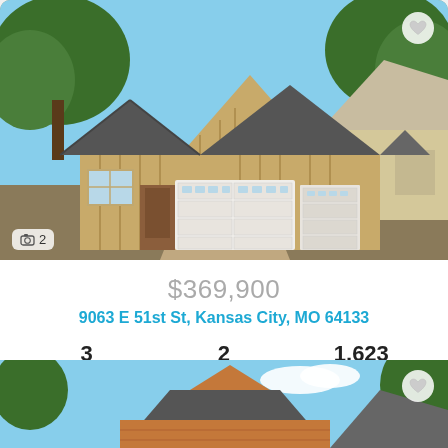[Figure (photo): Exterior photo of a single-story ranch-style house with board-and-batten siding, large two-car garage, and trees. Photo counter showing camera icon and number 2 in bottom left. Heart/favorite icon in top right.]
$369,900
9063 E 51st St, Kansas City, MO 64133
| Beds | Baths | SqFt |
| --- | --- | --- |
| 3 | 2 | 1,623 |
[Figure (photo): Partial exterior photo of a two-story brick house with trees and blue sky. Heart/favorite icon in top right.]